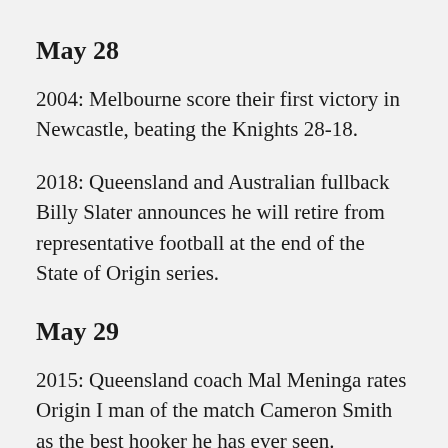May 28
2004: Melbourne score their first victory in Newcastle, beating the Knights 28-18.
2018: Queensland and Australian fullback Billy Slater announces he will retire from representative football at the end of the State of Origin series.
May 29
2015: Queensland coach Mal Meninga rates Origin I man of the match Cameron Smith as the best hooker he has ever seen.